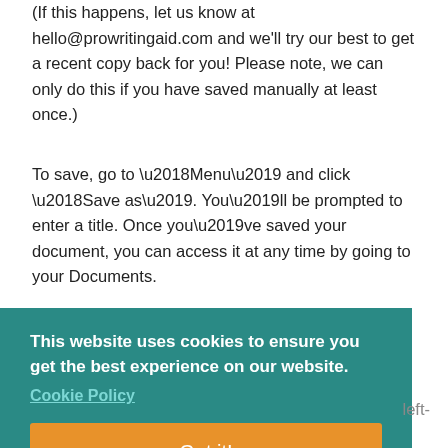(If this happens, let us know at hello@prowritingaid.com and we'll try our best to get a recent copy back for you! Please note, we can only do this if you have saved manually at least once.)
To save, go to ‘Menu’ and click ‘Save as’. You’ll be prompted to enter a title. Once you’ve saved your document, you can access it at any time by going to your Documents.
This website uses cookies to ensure you get the best experience on our website.
Cookie Policy
Got it!
left-